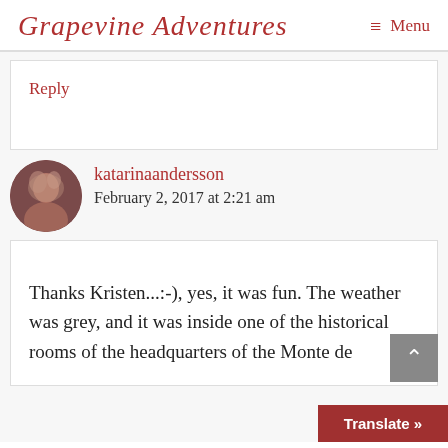Grapevine Adventures  Menu
Reply
katarinaandersson
February 2, 2017 at 2:21 am
Thanks Kristen...:-), yes, it was fun. The weather was grey, and it was inside one of the historical rooms of the headquarters of the Monte de